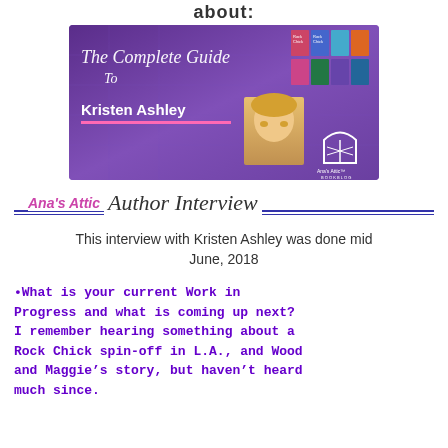about:
[Figure (illustration): Banner image for 'The Complete Guide To Kristen Ashley' featuring Ana's Attic Book Blog branding, with script title text, a photo of a blonde woman, the Ana's Attic logo, and book thumbnails on a purple background.]
Ana's Attic Author Interview
This interview with Kristen Ashley was done mid June, 2018
•What is your current Work in Progress and what is coming up next? I remember hearing something about a Rock Chick spin-off in L.A., and Wood and Maggie's story, but haven't heard much since.